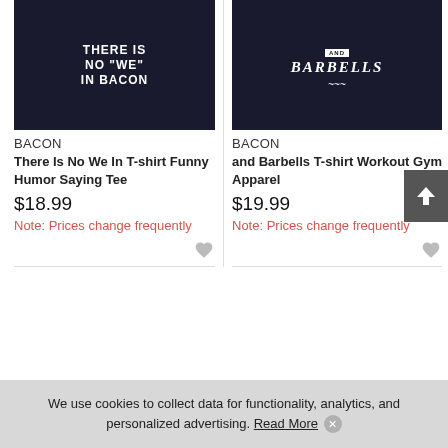[Figure (photo): Black t-shirt with text THERE IS NO WE IN BACON]
[Figure (photo): Black t-shirt with text BACON AND BARBELLS]
BACON
There Is No We In T-shirt Funny Humor Saying Tee
$18.99
Note: Prices change frequently
BACON
and Barbells T-shirt Workout Gym Apparel
$19.99
Note: Prices change frequently
We use cookies to collect data for functionality, analytics, and personalized advertising. Read More